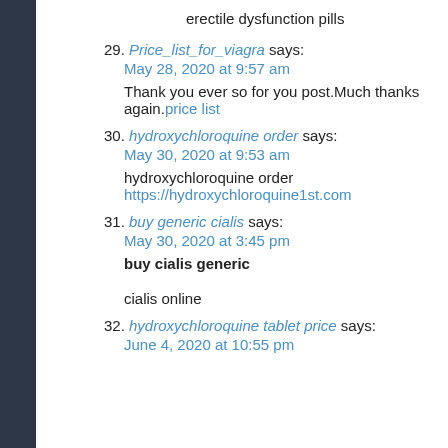erectile dysfunction pills
29. Price_list_for_viagra says:
May 28, 2020 at 9:57 am
Thank you ever so for you post.Much thanks again.price list
30. hydroxychloroquine order says:
May 30, 2020 at 9:53 am
hydroxychloroquine order https://hydroxychloroquine1st.com
31. buy generic cialis says:
May 30, 2020 at 3:45 pm
buy cialis generic
cialis online
32. hydroxychloroquine tablet price says:
June 4, 2020 at 10:55 pm